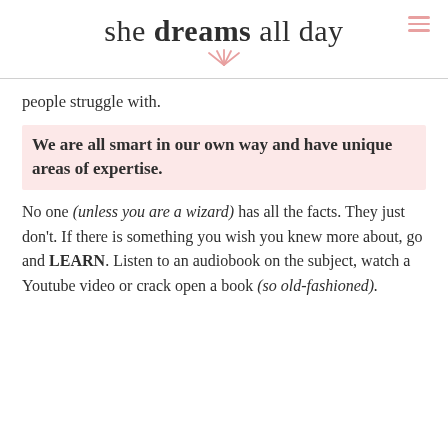she dreams all day
people struggle with.
We are all smart in our own way and have unique areas of expertise.
No one (unless you are a wizard) has all the facts. They just don't. If there is something you wish you knew more about, go and LEARN. Listen to an audiobook on the subject, watch a Youtube video or crack open a book (so old-fashioned).